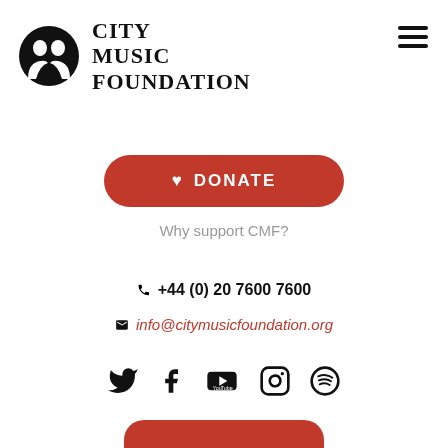[Figure (logo): City Music Foundation logo: circular black icon with two facing profile silhouettes, next to bold serif text reading CITY MUSIC FOUNDATION]
[Figure (other): Hamburger menu icon (three horizontal black bars) in top right corner]
[Figure (other): Red rounded rectangle DONATE button with white heart icon and text DONATE]
Why support CMF?
+44 (0) 20 7600 7600
info@citymusicfoundation.org
[Figure (other): Row of social media icons: Twitter, Facebook, YouTube, Instagram, Spotify]
[Figure (other): Partially visible red rounded button at bottom of page]